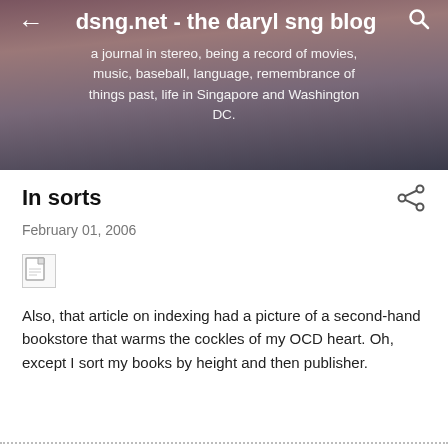dsng.net - the daryl sng blog
a journal in stereo, being a record of movies, music, baseball, language, remembrance of things past, life in Singapore and Washington DC.
In sorts
February 01, 2006
[Figure (photo): Broken image placeholder (small document icon with folded corner)]
Also, that article on indexing had a picture of a second-hand bookstore that warms the cockles of my OCD heart. Oh, except I sort my books by height and then publisher.